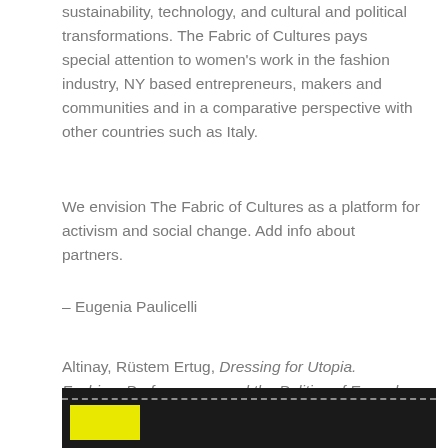sustainability, technology, and cultural and political transformations. The Fabric of Cultures pays special attention to women's work in the fashion industry, NY based entrepreneurs, makers and communities and in a comparative perspective with other countries such as Italy.
We envision The Fabric of Cultures as a platform for activism and social change. Add info about partners.
– Eugenia Paulicelli
Altinay, Rüstem Ertug, Dressing for Utopia. Fashion, Performance, and the Politics of Everyday Life in Turkey (1923-2013), PhD Dissertation, New York University, 2016.
[Figure (photo): Dark background image with yellow graphic element at bottom left, with a dashed line across the top portion of the image.]